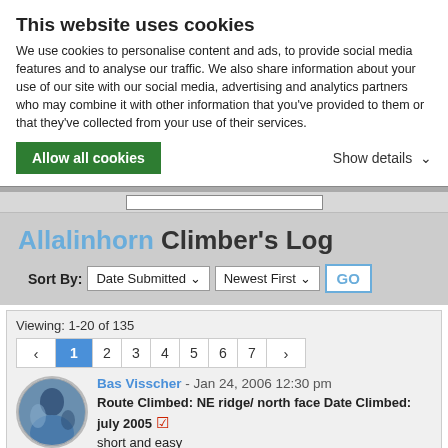This website uses cookies
We use cookies to personalise content and ads, to provide social media features and to analyse our traffic. We also share information about your use of our site with our social media, advertising and analytics partners who may combine it with other information that you've provided to them or that they've collected from your use of their services.
Allow all cookies
Show details
Allalinhorn Climber's Log
Sort By: Date Submitted  Newest First  GO
Viewing: 1-20 of 135
< 1 2 3 4 5 6 7 >
Bas Visscher - Jan 24, 2006 12:30 pm
Route Climbed: NE ridge/ north face Date Climbed: july 2005  short and easy